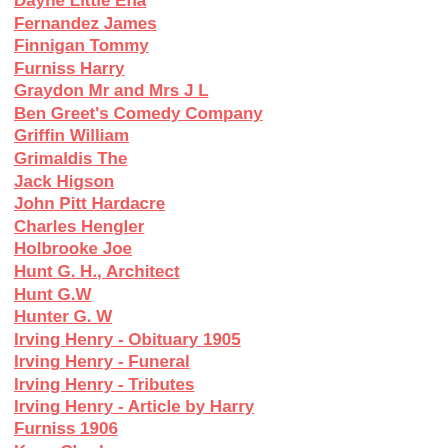Dayne Little Ena
Fernandez James
Finnigan Tommy
Furniss Harry
Graydon Mr and Mrs J L
Ben Greet's Comedy Company
Griffin William
Grimaldis The
Jack Higson
John Pitt Hardacre
Charles Hengler
Holbrooke Joe
Hunt G. H., Architect
Hunt G.W
Hunter G. W
Irving Henry - Obituary 1905
Irving Henry - Funeral
Irving Henry - Tributes
Irving Henry - Article by Harry Furniss 1906
Kean Charles